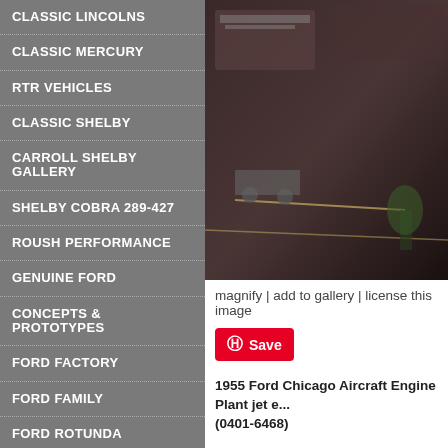CLASSIC LINCOLNS
CLASSIC MERCURY
RTR VEHICLES
CLASSIC SHELBY
CARROLL SHELBY GALLERY
SHELBY COBRA 289-427
ROUSH PERFORMANCE
GENUINE FORD
CONCEPTS & PROTOTYPES
FORD FACTORY
FORD FAMILY
FORD ROTUNDA
FORD RACING
LEGENDARY DRIVERS
GREAT PHOTOGRAPHERS
FEATURED ARTISTS
[Figure (photo): Black and white photo of 1955 Ford Chicago Aircraft Engine Plant jet engine equipment on a factory floor]
magnify | add to gallery | license this image
Save
1955 Ford Chicago Aircraft Engine Plant jet e... (0401-6468)